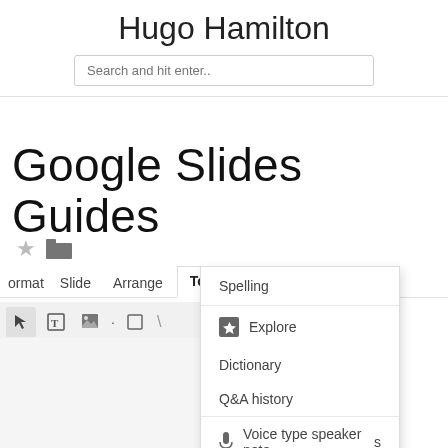Hugo Hamilton
Search and hit enter..
Google Slides Guides
[Figure (screenshot): Google Slides toolbar screenshot showing menus: Format, Slide, Arrange, Tools (active/open), Add-ons, Help, Al; toolbar icons; and dropdown menu under Tools with items: Spelling, Explore (with star icon), Dictionary, Q&A history, Voice type speaker notes (with mic icon)]